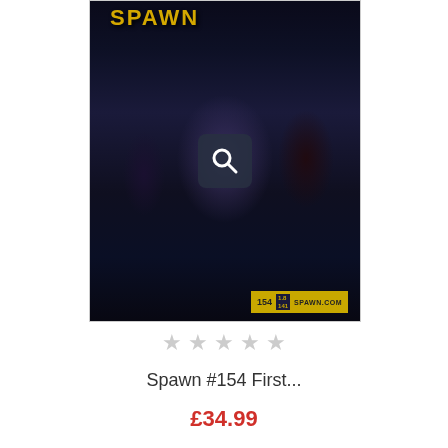[Figure (photo): Comic book cover of Spawn #154 showing a warrior character with white hair in blue armor, flanked by dark figures, with a magnifying glass overlay icon in the center. Bottom right shows issue number 154 and spawn.com logo.]
★★★★★
Spawn #154 First...
£34.99